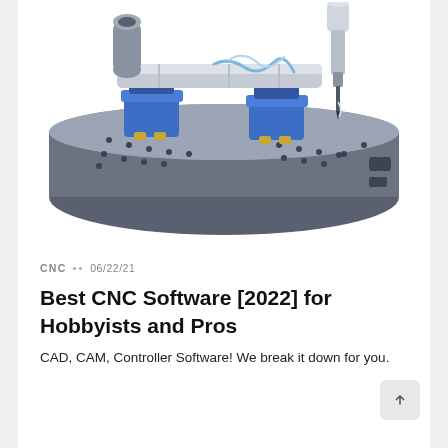[Figure (illustration): 3D CAD rendering of a CNC machining setup: a dark gray rectangular base plate with blue modular workholding clamp assemblies, gold/brass fittings, a horizontal clamping bar in light gray, and a CNC tool/spindle descending from the top right. Coolant or material is visible near the tool tip.]
CNC •• 06/22/21
Best CNC Software [2022] for Hobbyists and Pros
CAD, CAM, Controller Software! We break it down for you.